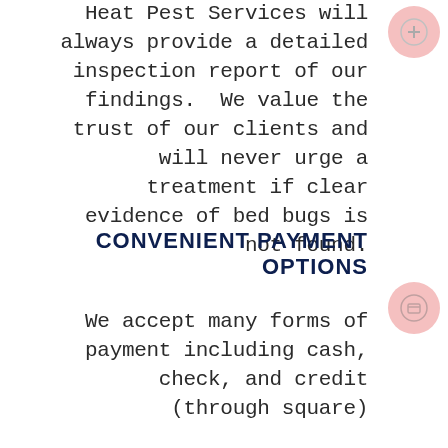Heat Pest Services will always provide a detailed inspection report of our findings. We value the trust of our clients and will never urge a treatment if clear evidence of bed bugs is not found.
CONVENIENT PAYMENT OPTIONS
We accept many forms of payment including cash, check, and credit (through square)